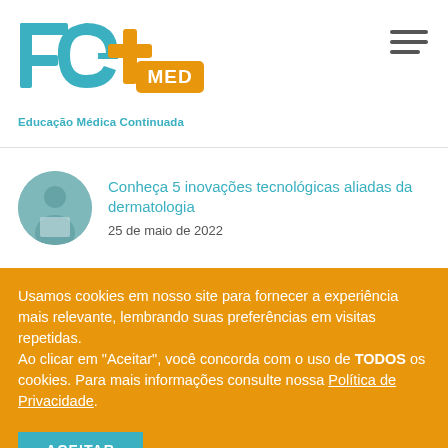[Figure (logo): FG+MED logo with teal F and G letters and orange plus sign, with MED text in orange badge. Subtitle: Educação Médica Continuada in teal.]
[Figure (photo): Circular avatar photo of a woman in white coat, appearing to be a medical professional.]
Conheça 5 inovações tecnológicas aliadas da dermatologia
25 de maio de 2022
Usamos cookies em nosso site para fornecer a experiência mais relevante, lembrando suas preferências em visitas repetidas.
Ao clicar em "Aceitar", você concorda com o uso de TODOS os cookies. Para mais informações consulte nossa Política de Privacidade.
ACEITAR